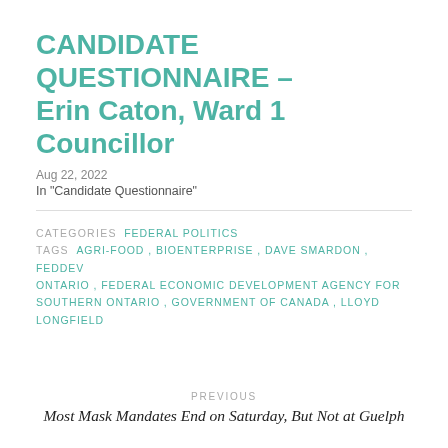CANDIDATE QUESTIONNAIRE – Erin Caton, Ward 1 Councillor
Aug 22, 2022
In "Candidate Questionnaire"
CATEGORIES  FEDERAL POLITICS
TAGS  AGRI-FOOD , BIOENTERPRISE , DAVE SMARDON , FEDDEV ONTARIO , FEDERAL ECONOMIC DEVELOPMENT AGENCY FOR SOUTHERN ONTARIO , GOVERNMENT OF CANADA , LLOYD LONGFIELD
PREVIOUS
Most Mask Mandates End on Saturday, But Not at Guelph